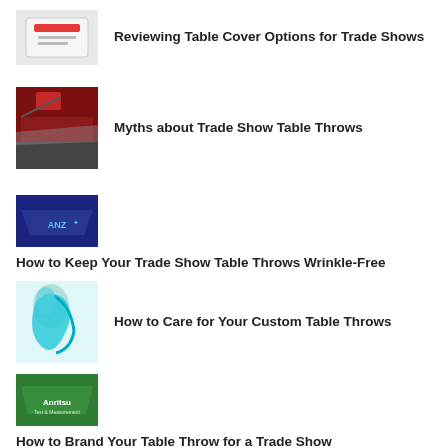[Figure (photo): White box product photo (table cover packaging)]
Reviewing Table Cover Options for Trade Shows
[Figure (photo): Dark red/black trade show table throw draped over a table in a convention hall]
Myths about Trade Show Table Throws
[Figure (photo): Navy blue ANZ branded table throw]
How to Keep Your Trade Show Table Throws Wrinkle-Free
[Figure (photo): Person holding teal fabric/table throw]
How to Care for Your Custom Table Throws
[Figure (photo): Green Anritsu branded table throw]
How to Brand Your Table Throw for a Trade Show